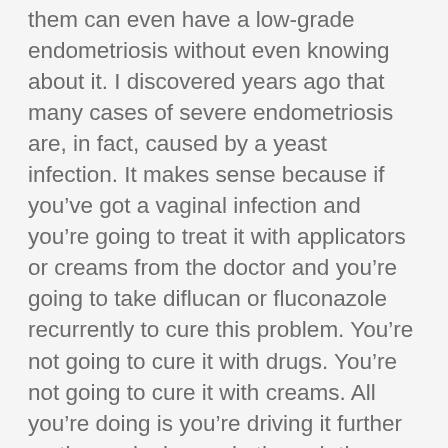them can even have a low-grade endometriosis without even knowing about it. I discovered years ago that many cases of severe endometriosis are, in fact, caused by a yeast infection. It makes sense because if you’ve got a vaginal infection and you’re going to treat it with applicators or creams from the doctor and you’re going to take diflucan or fluconazole recurrently to cure this problem. You’re not going to cure it with drugs. You’re not going to cure it with creams. All you’re doing is you’re driving it further up the vaginal area, in through the cervix, into the endometrium, and then eventually you get endometriosis. So you get basically an inflammation in the wall of the womb. Yeast actually can get through there and start creating an immune reaction. Cysts will develop; small cysts develop around that area and that becomes endometriosis.